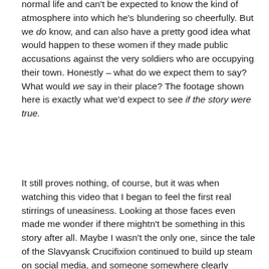normal life and can't be expected to know the kind of atmosphere into which he's blundering so cheerfully. But we do know, and can also have a pretty good idea what would happen to these women if they made public accusations against the very soldiers who are occupying their town. Honestly – what do we expect them to say? What would we say in their place? The footage shown here is exactly what we'd expect to see if the story were true.
It still proves nothing, of course, but it was when watching this video that I began to feel the first real stirrings of uneasiness. Looking at those faces even made me wonder if there mightn't be something in this story after all. Maybe I wasn't the only one, since the tale of the Slavyansk Crucifixion continued to build up steam on social media, and someone somewhere clearly decided it